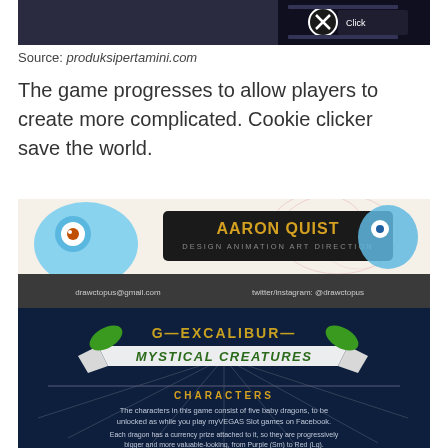[Figure (screenshot): Screenshot of a game interface with a close button (X) overlay and click UI]
Source: produksipertamini.com
The game progresses to allow players to create more complicated. Cookie clicker save the world.
[Figure (screenshot): Aaron Quist portfolio header: Design, Animation, Art Direction with cartoon characters. Email: drawctopus@gmail.com, twitter/instagram: @drawctopus]
[Figure (screenshot): G-Excalibur Mystical Creatures game logo on dark blue background with CHARACTERS section text below about five baby dragons unlocked playing myVEGAS Slot games on Facebook.]